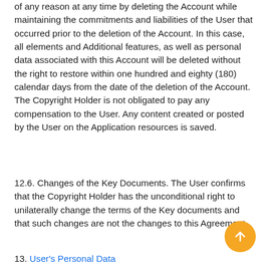of any reason at any time by deleting the Account while maintaining the commitments and liabilities of the User that occurred prior to the deletion of the Account. In this case, all elements and Additional features, as well as personal data associated with this Account will be deleted without the right to restore within one hundred and eighty (180) calendar days from the date of the deletion of the Account. The Copyright Holder is not obligated to pay any compensation to the User. Any content created or posted by the User on the Application resources is saved.
12.6. Changes of the Key Documents. The User confirms that the Copyright Holder has the unconditional right to unilaterally change the terms of the Key documents and that such changes are not the changes to this Agreement.
13. User's Personal Data